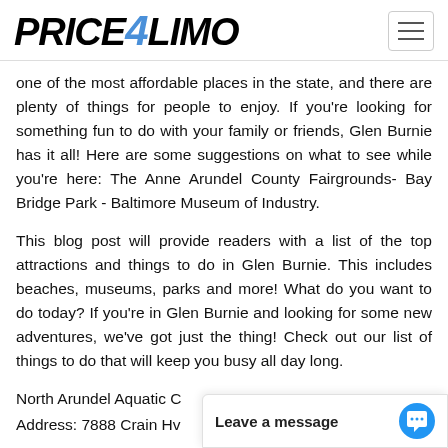Price4Limo
one of the most affordable places in the state, and there are plenty of things for people to enjoy. If you're looking for something fun to do with your family or friends, Glen Burnie has it all! Here are some suggestions on what to see while you're here: The Anne Arundel County Fairgrounds- Bay Bridge Park - Baltimore Museum of Industry.
This blog post will provide readers with a list of the top attractions and things to do in Glen Burnie. This includes beaches, museums, parks and more! What do you want to do today? If you're in Glen Burnie and looking for some new adventures, we've got just the thing! Check out our list of things to do that will keep you busy all day long.
North Arundel Aquatic C
Address: 7888 Crain Hv